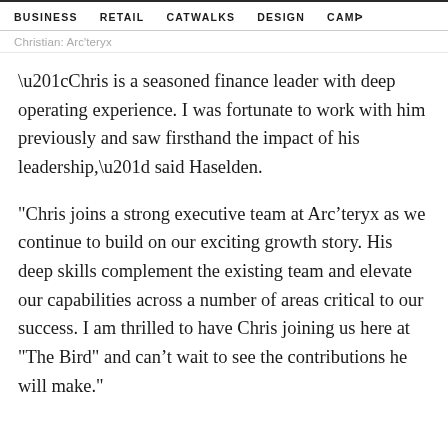BUSINESS   RETAIL   CATWALKS   DESIGN   CAMI  >
Christian: Arc'teryx
“Chris is a seasoned finance leader with deep operating experience. I was fortunate to work with him previously and saw firsthand the impact of his leadership,” said Haselden.
"Chris joins a strong executive team at Arc’teryx as we continue to build on our exciting growth story. His deep skills complement the existing team and elevate our capabilities across a number of areas critical to our success. I am thrilled to have Chris joining us here at "The Bird" and can’t wait to see the contributions he will make."